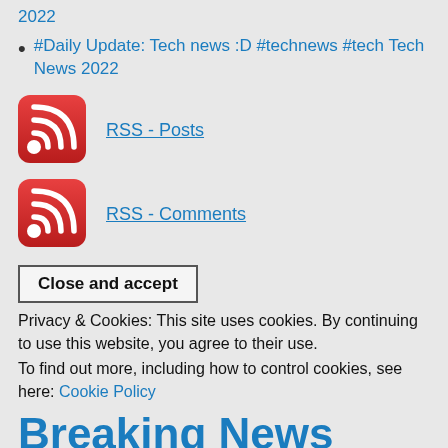2022
#Daily Update: Tech news :D #technews #tech Tech News 2022
[Figure (logo): RSS feed icon - red rounded square with white wifi/RSS signal symbol]
RSS - Posts
[Figure (logo): RSS feed icon - red rounded square with white wifi/RSS signal symbol]
RSS - Comments
Close and accept
Privacy & Cookies: This site uses cookies. By continuing to use this website, you agree to their use.
To find out more, including how to control cookies, see here: Cookie Policy
Breaking News
Breaking News, Latest News and Videos